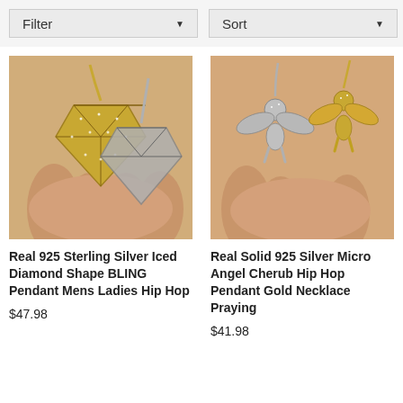Filter ▼
Sort ▼
[Figure (photo): Two diamond-shaped iced out pendants held in a hand, one gold-toned and one silver-toned, on chains.]
Real 925 Sterling Silver Iced Diamond Shape BLING Pendant Mens Ladies Hip Hop
$47.98
[Figure (photo): Two angel/cherub pendants held in a hand, one silver and one gold, on necklace chains.]
Real Solid 925 Silver Micro Angel Cherub Hip Hop Pendant Gold Necklace Praying
$41.98